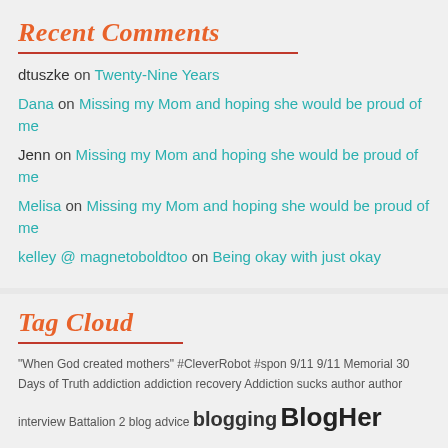Recent Comments
dtuszke on Twenty-Nine Years
Dana on Missing my Mom and hoping she would be proud of me
Jenn on Missing my Mom and hoping she would be proud of me
Melisa on Missing my Mom and hoping she would be proud of me
kelley @ magnetoboldtoo on Being okay with just okay
Tag Cloud
"When God created mothers" #CleverRobot #spon 9/11 9/11 Memorial 30 Days of Truth addiction addiction recovery Addiction sucks author author interview Battalion 2 blog advice blogging BlogHer BlogHer'11 BlogHer08 BlogHer09 BlogHer10 blogher12 blog vs. life blog with integrity book review broken places Busy Mom